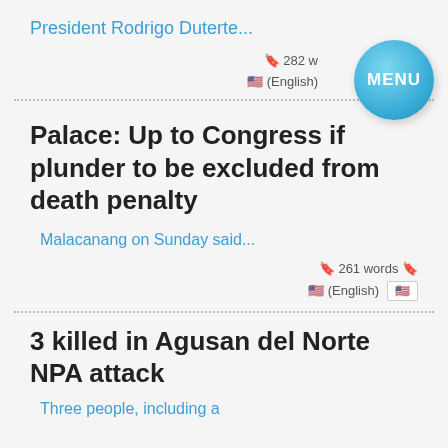President Rodrigo Duterte...
🔖 282 w
🇺🇸 (English)
[Figure (other): Blue circular MENU button]
Palace: Up to Congress if plunder to be excluded from death penalty
Malacanang on Sunday said...
🔖 261 words 🔖
🇺🇸 (English)
3 killed in Agusan del Norte NPA attack
Three people, including a